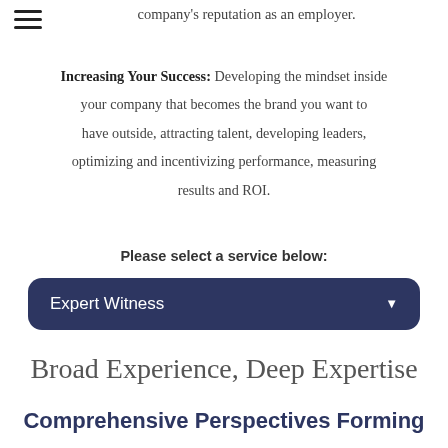company's reputation as an employer.
Increasing Your Success: Developing the mindset inside your company that becomes the brand you want to have outside, attracting talent, developing leaders, optimizing and incentivizing performance, measuring results and ROI.
Please select a service below:
Expert Witness
Broad Experience, Deep Expertise
Comprehensive Perspectives Forming